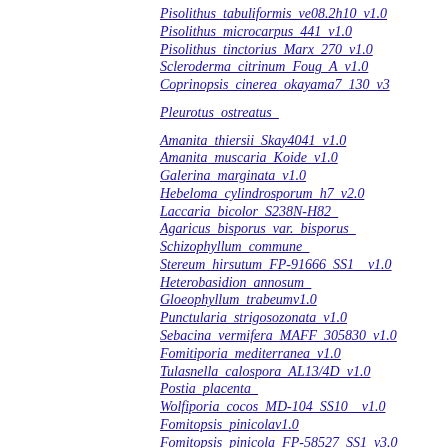Pisolithus_tabuliformis_ve08.2h10_v1.0
Pisolithus_microcarpus_441_v1.0
Pisolithus_tinctorius_Marx_270_v1.0
Scleroderma_citrinum_Foug_A_v1.0
Coprinopsis_cinerea_okayama7_130_v3
Pleurotus_ostreatus_
Amanita_thiersii_Skay4041_v1.0
Amanita_muscaria_Koide_v1.0
Galerina_marginata_v1.0
Hebeloma_cylindrosporum_h7_v2.0
Laccaria_bicolor_S238N-H82_
Agaricus_bisporus_var._bisporus_
Schizophyllum_commune_
Stereum_hirsutum_FP-91666_SS1__v1.0
Heterobasidion_annosum_
Gloeophyllum_trabeumv1.0
Punctularia_strigosozonata_v1.0
Sebacina_vermifera_MAFF_305830_v1.0
Fomitiporia_mediterranea_v1.0
Tulasnella_calospora_AL13/4D_v1.0
Postia_placenta_
Wolfiporia_cocos_MD-104_SS10__v1.0
Fomitopsis_pinicolav1.0
Fomitopsis_pinicola_FP-58527_SS1_v3.0
Phanerochaete_chrysosporium_RP-78_2.1
Dichomitus_squalens
Trametes_versicolor_v1.0
Tremella_mesenterica_
Daldinia_eschscholzii_EC12_v1.0
Apiospora_montagnei_NRRL_25634_v1.0